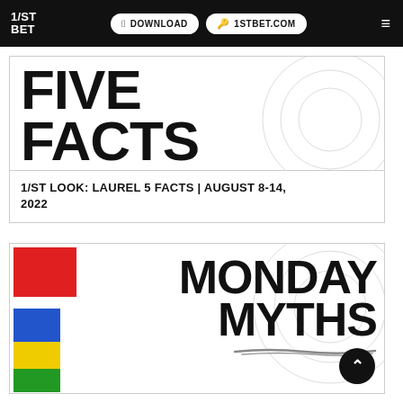1/ST BET | DOWNLOAD | 1STBET.COM
FIVE FACTS
1/ST LOOK: LAUREL 5 FACTS | AUGUST 8-14, 2022
[Figure (illustration): MONDAY MYTHS graphic with colored rectangles (red, blue, yellow, green) on left and large bold text reading MONDAY MYTHS on right, with a decorative arc in background and underline scribble]